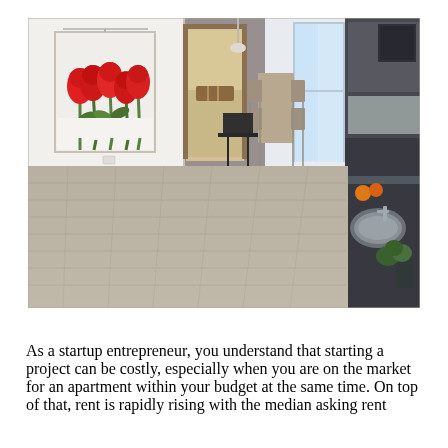[Figure (photo): Interior photo of a modern apartment showing an open-plan living space with light wood laminate flooring, a large tulip painting on the white left wall, a hallway door in the center, dining furniture with a bright window in the background, and a dark grey kitchen counter with a stainless steel sink on the right.]
As a startup entrepreneur, you understand that starting a project can be costly, especially when you are on the market for an apartment within your budget at the same time. On top of that, rent is rapidly rising with the median asking rent